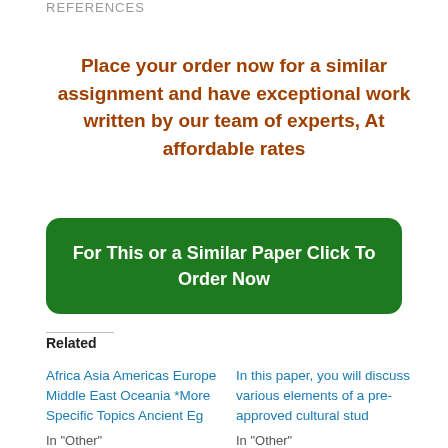REFERENCES
Place your order now for a similar assignment and have exceptional work written by our team of experts, At affordable rates
For This or a Similar Paper Click To Order Now
Related
Africa Asia Americas Europe Middle East Oceania *More Specific Topics Ancient Eg
In this paper, you will discuss various elements of a pre-approved cultural stud
In "Other"
In "Other"